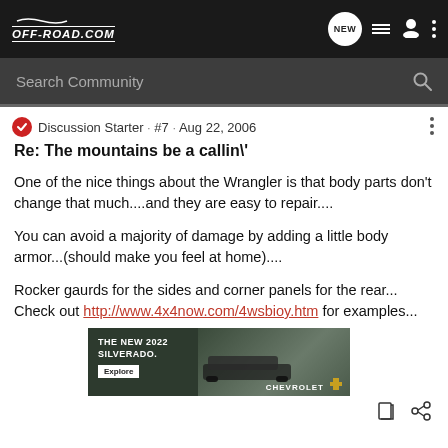OFF-ROAD.COM
Search Community
Discussion Starter · #7 · Aug 22, 2006
Re: The mountains be a callin\'
One of the nice things about the Wrangler is that body parts don't change that much....and they are easy to repair....
You can avoid a majority of damage by adding a little body armor...(should make you feel at home)....
Rocker gaurds for the sides and corner panels for the rear...
Check out http://www.4x4now.com/4wsbioy.htm for examples...
[Figure (screenshot): Advertisement banner for The New 2022 Silverado by Chevrolet, showing a truck in a wooded area with Explore button]